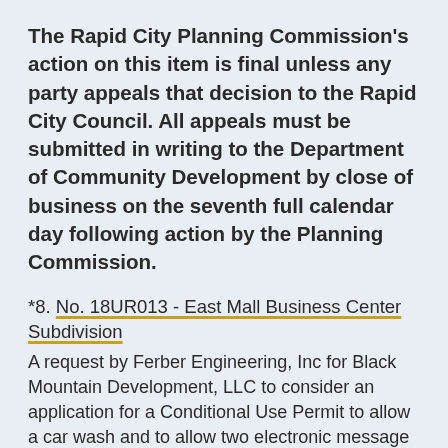The Rapid City Planning Commission's action on this item is final unless any party appeals that decision to the Rapid City Council. All appeals must be submitted in writing to the Department of Community Development by close of business on the seventh full calendar day following action by the Planning Commission.
*8. No. 18UR013 - East Mall Business Center Subdivision
A request by Ferber Engineering, Inc for Black Mountain Development, LLC to consider an application for a Conditional Use Permit to allow a car wash and to allow two electronic message reader board signs for property